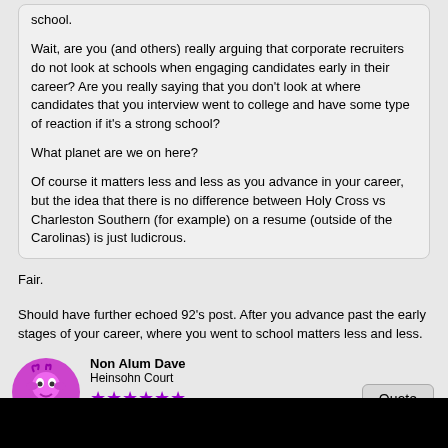school.
Wait, are you (and others) really arguing that corporate recruiters do not look at schools when engaging candidates early in their career? Are you really saying that you don't look at where candidates that you interview went to college and have some type of reaction if it's a strong school?

What planet are we on here?

Of course it matters less and less as you advance in your career, but the idea that there is no difference between Holy Cross vs Charleston Southern (for example) on a resume (outside of the Carolinas) is just ludicrous.
Fair.
Should have further echoed 92's post. After you advance past the early stages of your career, where you went to school matters less and less.
Non Alum Dave
Heinsohn Court
Apr 19, 2022 at 9:29pm
Chu Chu and sader1998 like this